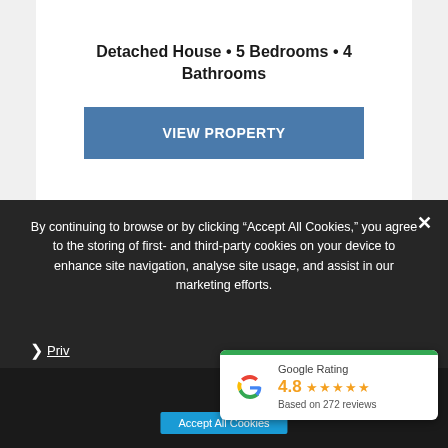Detached House • 5 Bedrooms • 4 Bathrooms
VIEW PROPERTY
By continuing to browse or by clicking "Accept All Cookies," you agree to the storing of first- and third-party cookies on your device to enhance site navigation, analyse site usage, and assist in our marketing efforts.
× (close button)
› Priv...
[Figure (infographic): Google Rating widget showing 4.8 stars based on 272 reviews, with Google G logo and green top bar]
Google Rating 4.8 ★★★★★ Based on 272 reviews